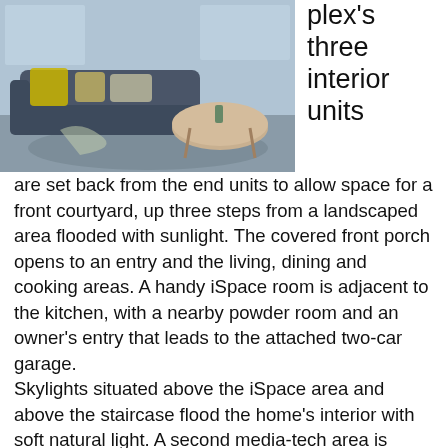[Figure (photo): Interior photo of a modern living room with a gray sectional sofa, yellow/green accent pillows, a round coffee table, and large windows.]
plex's three interior units are set back from the end units to allow space for a front courtyard, up three steps from a landscaped area flooded with sunlight. The covered front porch opens to an entry and the living, dining and cooking areas. A handy iSpace room is adjacent to the kitchen, with a nearby powder room and an owner's entry that leads to the attached two-car garage. Skylights situated above the iSpace area and above the staircase flood the home's interior with soft natural light. A second media-tech area is located at the top of the stairs, offering a convenient work space. The master suite occupies the upper front half of the town home, with a 12-foot ceiling, large walk-in closet and luxury five-piece bath. Bedrooms two and three share a full bath with a double-sink vanity and a pocket door to the tub and toilet. The unfinished lower level provides an opportunity for more living and sleeping